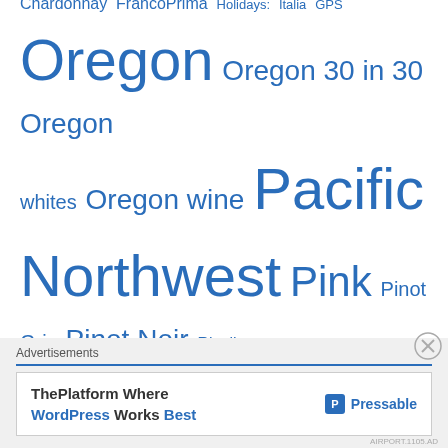Chardonnay  FrancoPrima  Holidays:  Italia  GPS  Oregon  Oregon 30 in 30  Oregon whites  Oregon wine  Pacific Northwest  Pink  Pinot Gris  Pinot Noir  Riesling  Rose  Southern Oregon  Spain  Summer whites  Syrah  Tempranillo  Uncategorized  US-of-A  weird blends  weird grapes  Willamette  Wine Sale Goodness
[Figure (other): Advertisement banner: ThePlatform Where WordPress Works Best — Pressable]